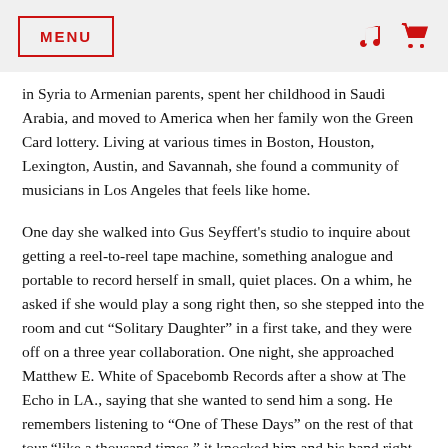MENU
in Syria to Armenian parents, spent her childhood in Saudi Arabia, and moved to America when her family won the Green Card lottery. Living at various times in Boston, Houston, Lexington, Austin, and Savannah, she found a community of musicians in Los Angeles that feels like home.
One day she walked into Gus Seyffert’s studio to inquire about getting a reel-to-reel tape machine, something analogue and portable to record herself in small, quiet places. On a whim, he asked if she would play a song right then, so she stepped into the room and cut “Solitary Daughter” in a first take, and they were off on a three year collaboration. One night, she approached Matthew E. White of Spacebomb Records after a show at The Echo in LA., saying that she wanted to send him a song. He remembers listening to “One of These Days” on the rest of that tour “like a thousand times,” it knocked him and his band right out, and they even set it as their alarm to wake up to in the morning. If that all sounds a bit mythic, a bit rock-and-roll legend, remember that reality always outdoes the script, even in